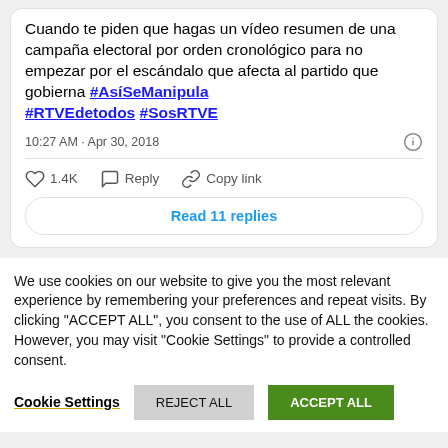Cuando te piden que hagas un vídeo resumen de una campaña electoral por orden cronológico para no empezar por el escándalo que afecta al partido que gobierna #AsíSeManipula #RTVEdetodos #SosRTVE
10:27 AM · Apr 30, 2018
1.4K   Reply   Copy link
Read 11 replies
We use cookies on our website to give you the most relevant experience by remembering your preferences and repeat visits. By clicking "ACCEPT ALL", you consent to the use of ALL the cookies. However, you may visit "Cookie Settings" to provide a controlled consent.
Cookie Settings   REJECT ALL   ACCEPT ALL